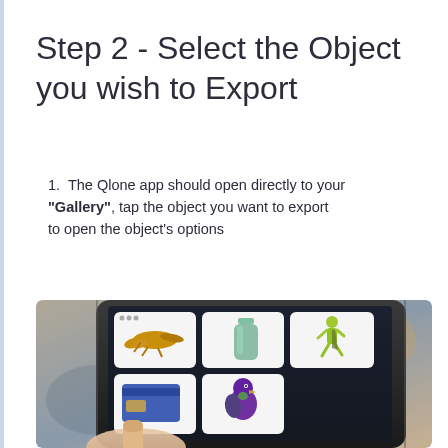Step 2 - Select the Object you wish to Export
The Qlone app should open directly to your "Gallery", tap the object you want to export to open the object's options
[Figure (photo): A hand holding a smartphone displaying the Qlone app Gallery screen, showing a 3x2 grid of 3D scanned objects: a yellow lizard/gecko, a green bottle, a running person figurine in green, a credit card, and a purple/green parrot bird.]